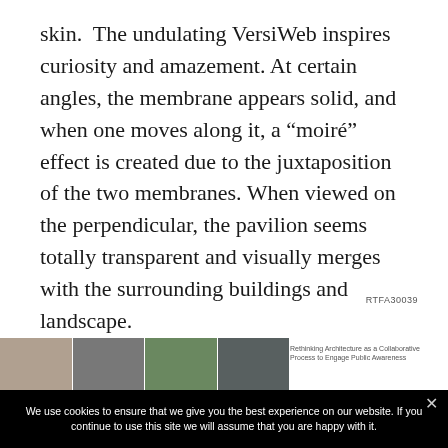skin. The undulating VersiWeb inspires curiosity and amazement. At certain angles, the membrane appears solid, and when one moves along it, a “moiré” effect is created due to the juxtaposition of the two membranes. When viewed on the perpendicular, the pavilion seems totally transparent and visually merges with the surrounding buildings and landscape.
RTFA30039
[Figure (photo): Strip of four thumbnail photos along the bottom of the page, with a small caption to the right reading 'Rethinking Architecture as a Collaborative Process to Engage Public Awareness']
Rethinking Architecture as a Collaborative Process to Engage Public Awareness
We use cookies to ensure that we give you the best experience on our website. If you continue to use this site we will assume that you are happy with it.
OK